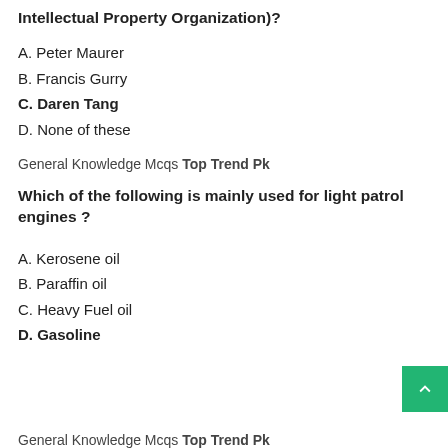Intellectual Property Organization)?
A. Peter Maurer
B. Francis Gurry
C. Daren Tang
D. None of these
General Knowledge Mcqs Top Trend Pk
Which of the following is mainly used for light patrol engines ?
A. Kerosene oil
B. Paraffin oil
C. Heavy Fuel oil
D. Gasoline
General Knowledge Mcqs Top Trend Pk